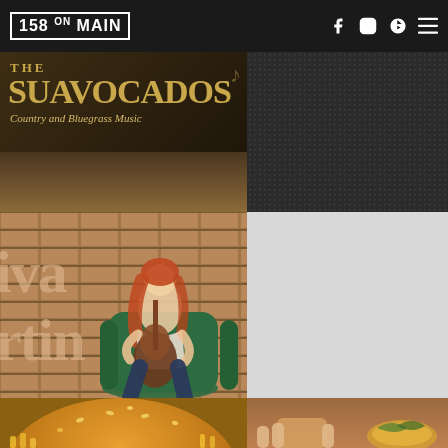158 ON MAIN — navigation header with logo and social icons (Facebook, Instagram, Yelp, Menu)
[Figure (illustration): The Suavocados – Country and Bluegrass Music promotional banner on dark textured background with golden/olive text]
[Figure (photo): Dark textured/grid pattern panel on right side of header area]
[Figure (photo): Young woman with long red hair sitting in green velvet chair against brick wall playing acoustic guitar, with text 'Iva Martin' on the wall behind her]
[Figure (photo): Light gray blurred panel]
[Figure (photo): Close-up of a sesame seed burger bun with chips/fries, food photography]
[Figure (photo): Close-up food photo showing hands and bread/food items]